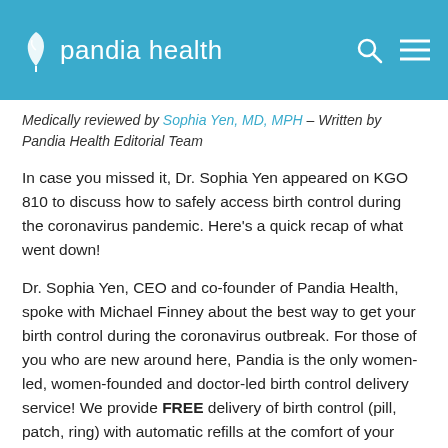pandia health
Medically reviewed by Sophia Yen, MD, MPH – Written by Pandia Health Editorial Team
In case you missed it, Dr. Sophia Yen appeared on KGO 810 to discuss how to safely access birth control during the coronavirus pandemic. Here's a quick recap of what went down!
Dr. Sophia Yen, CEO and co-founder of Pandia Health, spoke with Michael Finney about the best way to get your birth control during the coronavirus outbreak. For those of you who are new around here, Pandia is the only women-led, women-founded and doctor-led birth control delivery service! We provide FREE delivery of birth control (pill, patch, ring) with automatic refills at the comfort of your own home).